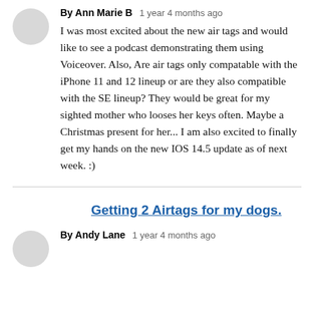By Ann Marie B   1 year 4 months ago
I was most excited about the new air tags and would like to see a podcast demonstrating them using Voiceover. Also, Are air tags only compatable with the iPhone 11 and 12 lineup or are they also compatible with the SE lineup? They would be great for my sighted mother who looses her keys often. Maybe a Christmas present for her... I am also excited to finally get my hands on the new IOS 14.5 update as of next week. :)
Getting 2 Airtags for my dogs.
By Andy Lane   1 year 4 months ago